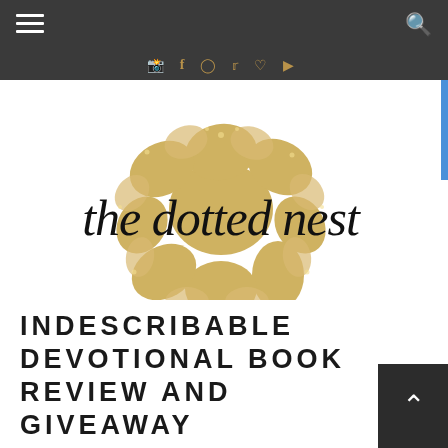Navigation bar with hamburger menu and search icon
[Figure (logo): The Dotted Nest blog logo: gold glitter flower/rose shape with cursive script text 'the dotted nest' overlaid, and tagline '...helping you dot your life with the details...' below]
INDESCRIBABLE DEVOTIONAL BOOK REVIEW AND GIVEAWAY